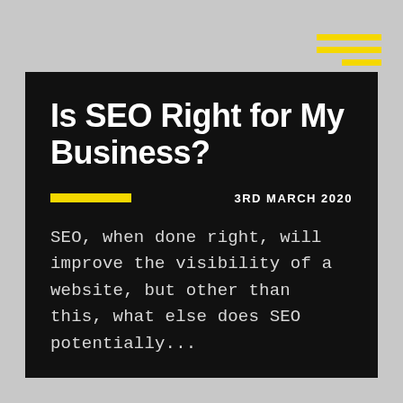Is SEO Right for My Business?
3RD MARCH 2020
SEO, when done right, will improve the visibility of a website, but other than this, what else does SEO potentially...